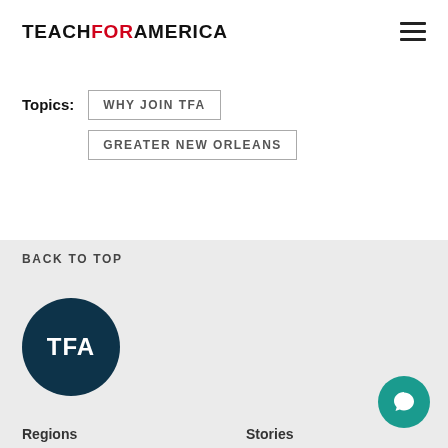TEACH FOR AMERICA
Topics: WHY JOIN TFA | GREATER NEW ORLEANS
BACK TO TOP
[Figure (logo): TFA circular logo — dark teal circle with white bold text 'TFA']
Regions    Stories